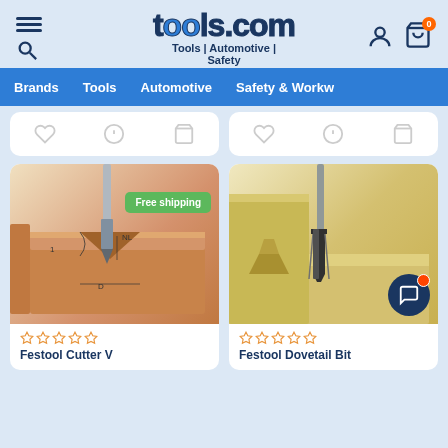tools.com — Tools | Automotive | Safety
Brands | Tools | Automotive | Safety & Workw
[Figure (screenshot): Product card with action icons (heart, info, cart) at top — partially visible]
[Figure (screenshot): Product card with action icons (heart, info, cart) at top — partially visible]
[Figure (photo): Router bit (Festool Cutter V) cutting a groove in a wooden block, with Free shipping badge overlay]
[Figure (photo): Festool Dovetail Bit router bit in wood joint]
Festool Cutter V
Festool Dovetail Bit